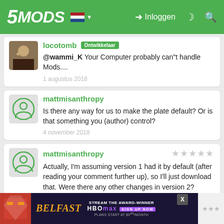5MODS | Inloggen
locotomb Ontwikkelaar
@wammi_K Your Computer probably can"t handle Mods....
1 augustus 2018
mattmisanthropy
Is there any way for us to make the plate default? Or is that something you (author) control?
4 november 2018
mattmisanthropy
Actually, I'm assuming version 1 had it by default (after reading your comment further up), so I'll just download that. Were there any other changes in version 2?
4 november 2018
[Figure (screenshot): Advertisement banner for Belfast movie on HBO Max: 'STREAM THE AWARD-WINNER BELFAST HBOMAX SIGN UP NOW PLANS START AT $9/MONTH']